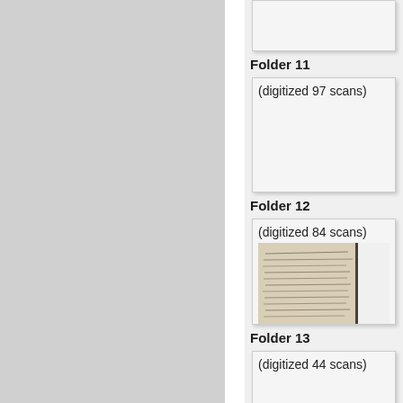[Figure (screenshot): Left gray panel - navigation or sidebar area]
Folder 11
(digitized 97 scans)
Folder 12
(digitized 84 scans)
[Figure (photo): Thumbnail of handwritten document scan for Folder 12]
Folder 13
(digitized 44 scans)